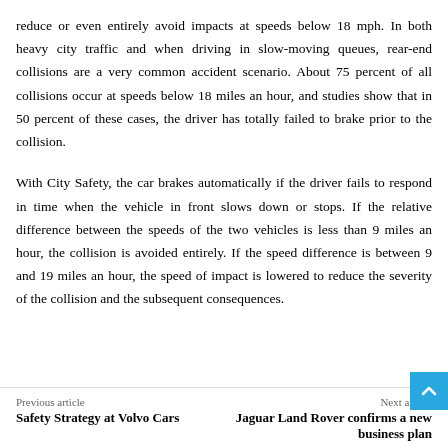reduce or even entirely avoid impacts at speeds below 18 mph. In both heavy city traffic and when driving in slow-moving queues, rear-end collisions are a very common accident scenario. About 75 percent of all collisions occur at speeds below 18 miles an hour, and studies show that in 50 percent of these cases, the driver has totally failed to brake prior to the collision.
With City Safety, the car brakes automatically if the driver fails to respond in time when the vehicle in front slows down or stops. If the relative difference between the speeds of the two vehicles is less than 9 miles an hour, the collision is avoided entirely. If the speed difference is between 9 and 19 miles an hour, the speed of impact is lowered to reduce the severity of the collision and the subsequent consequences.
Previous article | Safety Strategy at Volvo Cars || Next article | Jaguar Land Rover confirms a new business plan